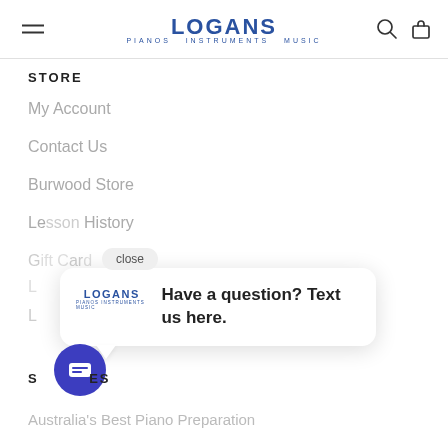LOGANS PIANOS INSTRUMENTS MUSIC
STORE
My Account
Contact Us
Burwood Store
Lesson History
[Figure (screenshot): Chat popup with Logans logo and text 'Have a question? Text us here.' with a close button and chat icon button]
SERVICES
Australia's Best Piano Preparation